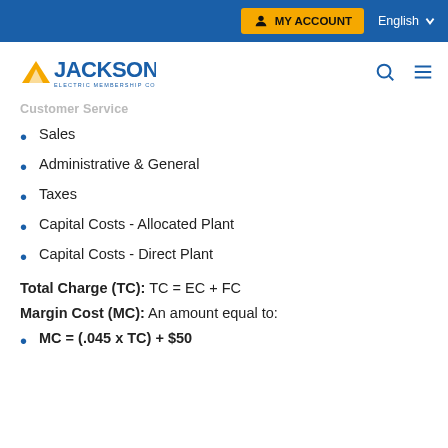MY ACCOUNT   English
[Figure (logo): Jackson Electric Membership Corporation logo]
Customer Service
Sales
Administrative & General
Taxes
Capital Costs - Allocated Plant
Capital Costs - Direct Plant
Total Charge (TC): TC = EC + FC
Margin Cost (MC): An amount equal to:
MC = (.045 x TC) + $50